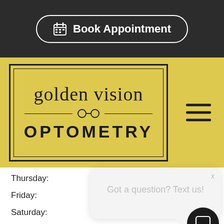[Figure (screenshot): Dark navigation bar with 'Book Appointment' button with calendar icon, white border, rounded rectangle]
[Figure (logo): Golden Vision Optometry logo in a double-bordered box on yellow background, with glasses icon divider. Hamburger menu icon on right.]
Thursday:
Friday:
Saturday:
2:00 PM - 5:00 PM
Sunday:
Closed
[Figure (screenshot): Chat widget popup bubble with close X button and text 'Got a question? Text us!' with speech bubble tail, and dark circular chat icon button in bottom right]